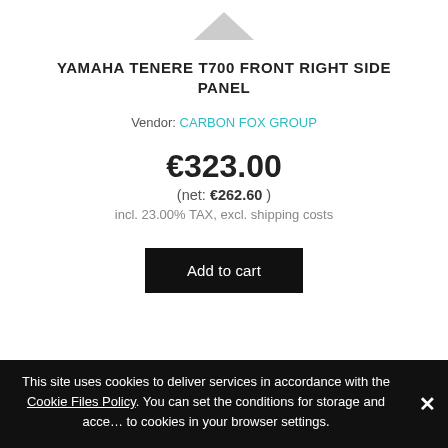[Figure (photo): Partial view of a motorcycle carbon fiber panel product image, cropped at top]
YAMAHA TENERE T700 FRONT RIGHT SIDE PANEL
Vendor: CARBON FOX GROUP
€323.00
(net: €262.60 )
incl. 23.00% TAX, excl. shipping costs
Add to cart
This site uses cookies to deliver services in accordance with the Cookie Files Policy. You can set the conditions for storage and access to cookies in your browser settings.